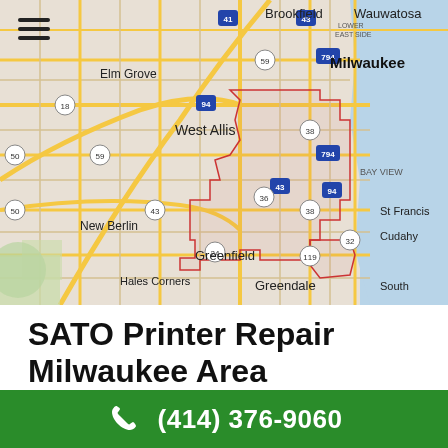[Figure (map): Google Maps view of Milwaukee area showing suburbs including Brookfield, Wauwatosa, Elm Grove, West Allis, New Berlin, Greenfield, Greendale, Hales Corners, St Francis, Cudahy, and surrounding areas with road network and Lake Michigan coastline visible on the right.]
SATO Printer Repair Milwaukee Area
(414) 376-9060